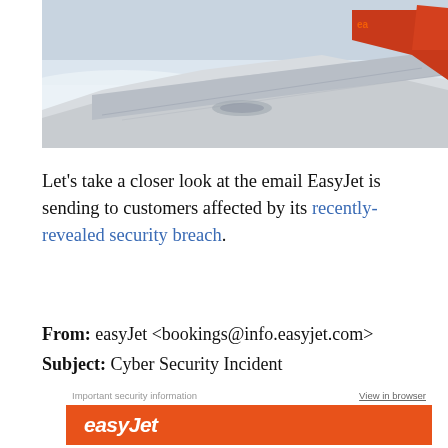[Figure (photo): Airplane wing with easyJet orange livery against cloudy sky, view from window seat]
Let's take a closer look at the email EasyJet is sending to customers affected by its recently-revealed security breach.
From: easyJet <bookings@info.easyjet.com>
Subject: Cyber Security Incident
[Figure (screenshot): EasyJet email preview showing 'Important security information' header, 'View in browser' link, and easyJet orange logo banner]